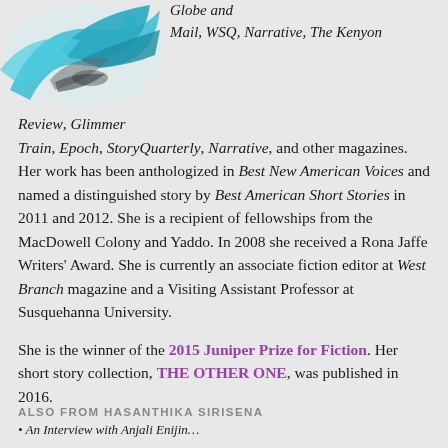[Figure (illustration): Partial cropped illustration of a bird or similar decorative image in blue/teal tones, shown at top-left corner of the page]
Globe and Mail, WSQ, Narrative, The Kenyon Review, Glimmer Train, Epoch, StoryQuarterly, Narrative, and other magazines. Her work has been anthologized in Best New American Voices and named a distinguished story by Best American Short Stories in 2011 and 2012. She is a recipient of fellowships from the MacDowell Colony and Yaddo. In 2008 she received a Rona Jaffe Writers' Award. She is currently an associate fiction editor at West Branch magazine and a Visiting Assistant Professor at Susquehanna University.
She is the winner of the 2015 Juniper Prize for Fiction. Her short story collection, THE OTHER ONE, was published in 2016.
ALSO FROM HASANTHIKA SIRISENA
• An Interview with Anjali Enijin…